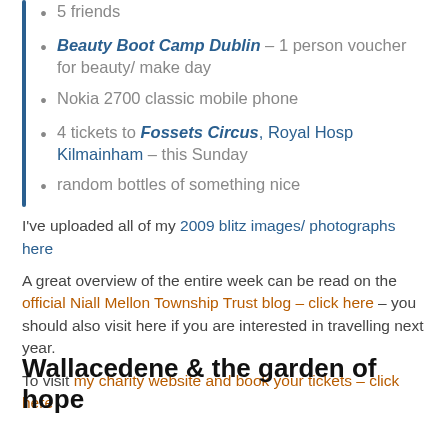5 friends
Beauty Boot Camp Dublin – 1 person voucher for beauty/ make day
Nokia 2700 classic mobile phone
4 tickets to Fossets Circus, Royal Hosp Kilmainham – this Sunday
random bottles of something nice
I've uploaded all of my 2009 blitz images/ photographs here
A great overview of the entire week can be read on the official Niall Mellon Township Trust blog – click here – you should also visit here if you are interested in travelling next year.
To visit my charity website and book your tickets – click here
Wallacedene & the garden of hope